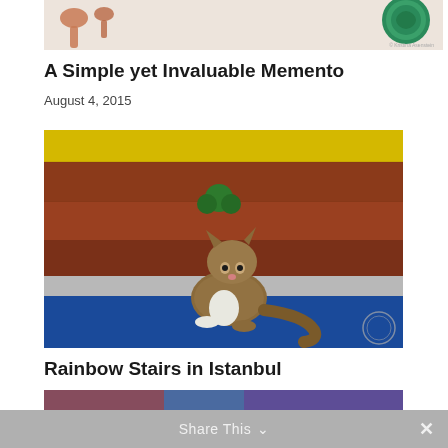[Figure (photo): Partial top view of decorative spoons and a green ornamental plate/dish on a light background]
A Simple yet Invaluable Memento
August 4, 2015
[Figure (photo): A cat sitting on colorful painted stairs (yellow, red/brick, blue) with a small green plant behind it in Istanbul]
Rainbow Stairs in Istanbul
September 12, 2014
[Figure (photo): Partial bottom image, colorful, cut off by Share This bar]
Share This ∨  ✕